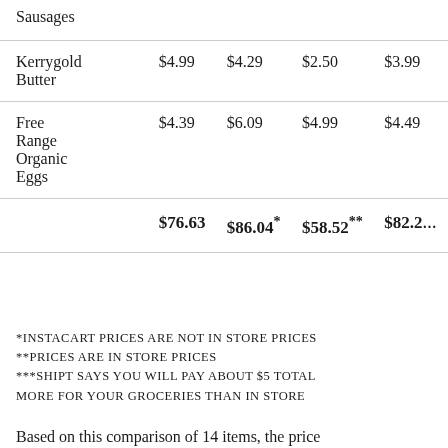| Item | Col1 | Col2 | Col3 | Col4 |
| --- | --- | --- | --- | --- |
| Sausages |  |  |  |  |
| Kerrygold Butter | $4.99 | $4.29 | $2.50 | $3.99 |
| Free Range Organic Eggs | $4.39 | $6.09 | $4.99 | $4.49 |
|  | $76.63 | $86.04* | $58.52** | $82.2... |
*INSTACART PRICES ARE NOT IN STORE PRICES
**PRICES ARE IN STORE PRICES
***SHIPT SAYS YOU WILL PAY ABOUT $5 TOTAL MORE FOR YOUR GROCERIES THAN IN STORE
Based on this comparison of 14 items, the price